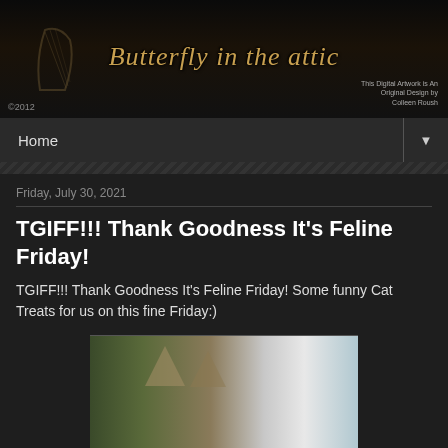Butterfly in the attic — ©2012 — This Digital Artwork is An Original Design by Colleen Roush
Home ▼
Friday, July 30, 2021
TGIFF!!! Thank Goodness It's Feline Friday!
TGIFF!!! Thank Goodness It's Feline Friday!  Some funny Cat Treats for us on this fine Friday:)
[Figure (photo): Photo of a cat, partially visible, with green and grey tones in the background]